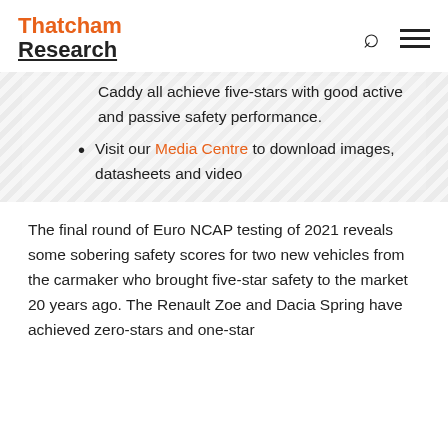Thatcham Research
Caddy all achieve five-stars with good active and passive safety performance.
Visit our Media Centre to download images, datasheets and video
The final round of Euro NCAP testing of 2021 reveals some sobering safety scores for two new vehicles from the carmaker who brought five-star safety to the market 20 years ago. The Renault Zoe and Dacia Spring have achieved zero-stars and one-star